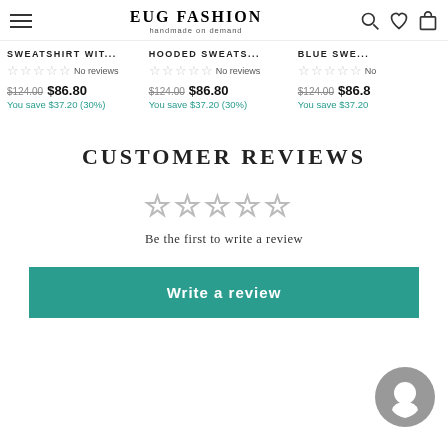EUG FASHION handmade on demand
SWEATSHIRT WIT... No reviews $124.00 $86.80 You save $37.20 (30%)
HOODED SWEATS... No reviews $124.00 $86.80 You save $37.20 (30%)
BLUE SWE... No reviews $124.00 $86.8... You save $37.20
CUSTOMER REVIEWS
Be the first to write a review
Write a review